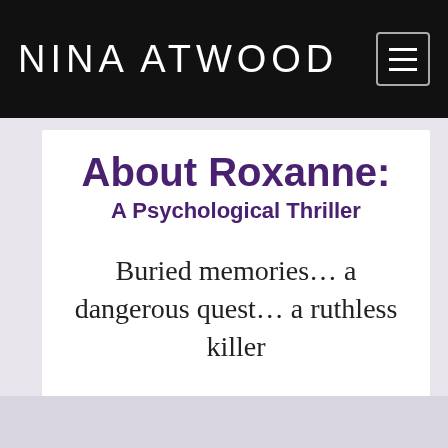NINA ATWOOD
About Roxanne: A Psychological Thriller
Buried memories… a dangerous quest… a ruthless killer
READ MORE